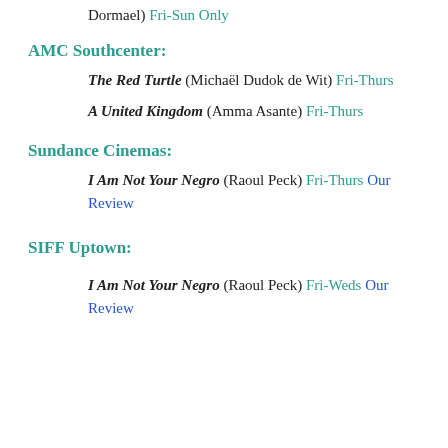Dormael) Fri-Sun Only
AMC Southcenter:
The Red Turtle (Michaël Dudok de Wit) Fri-Thurs
A United Kingdom (Amma Asante) Fri-Thurs
Sundance Cinemas:
I Am Not Your Negro (Raoul Peck) Fri-Thurs Our Review
SIFF Uptown:
I Am Not Your Negro (Raoul Peck) Fri-Weds Our Review